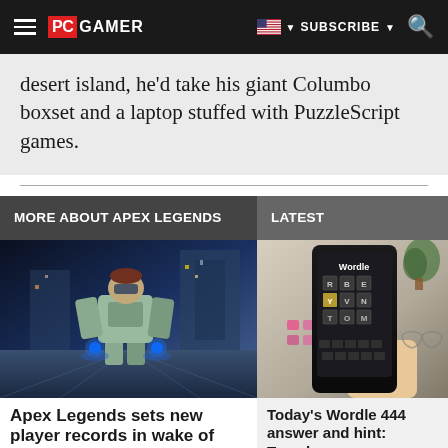PC GAMER | SUBSCRIBE
desert island, he'd take his giant Columbo boxset and a laptop stuffed with PuzzleScript games.
MORE ABOUT APEX LEGENDS
LATEST
[Figure (illustration): Apex Legends character in sci-fi mech suit, blue glowing lights, game screenshot]
Apex Legends sets new player records in wake of
[Figure (photo): Hand holding a smartphone displaying the Wordle game app, keyboard and plant in background]
Today's Wordle 444 answer and hint: Tuesday,